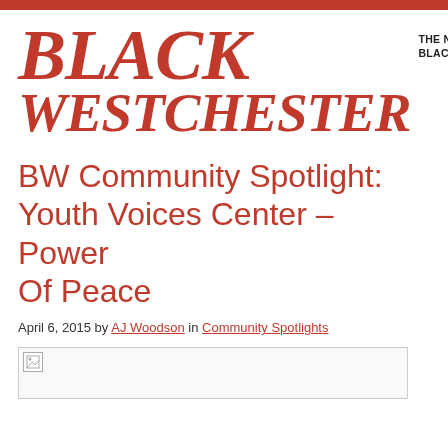[Figure (logo): Black Westchester newspaper logo in red serif italic font with tagline 'THE NEWS WITH A BLACK POINT OF VIEW']
BW Community Spotlight: Youth Voices Center – Power Of Peace
April 6, 2015 by AJ Woodson in Community Spotlights
[Figure (photo): Broken/missing image placeholder]